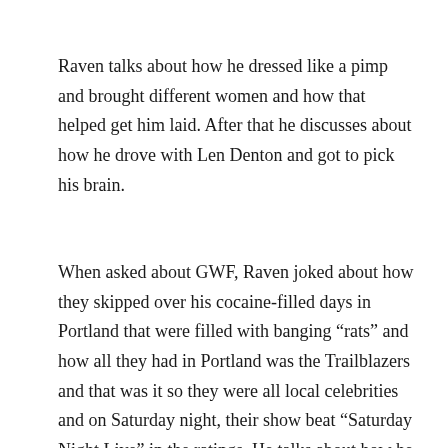Raven talks about how he dressed like a pimp and brought different women and how that helped get him laid. After that he discusses about how he drove with Len Denton and got to pick his brain.
When asked about GWF, Raven joked about how they skipped over his cocaine-filled days in Portland that were filled with banging "rats" and how all they had in Portland was the Trailblazers and that was it so they were all local celebrities and on Saturday night, their show beat "Saturday Night Live" in the ratings. He talks about how he found his valet, Ginger, at his coke dealer's house smoking